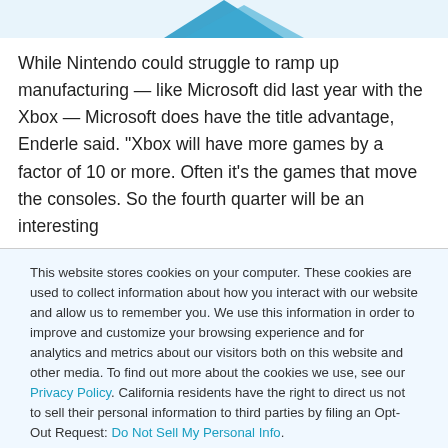[Figure (illustration): Partial view of a blue arrow or logo graphic on a light blue background, cropped at top of page]
While Nintendo could struggle to ramp up manufacturing — like Microsoft did last year with the Xbox — Microsoft does have the title advantage, Enderle said. “Xbox will have more games by a factor of 10 or more. Often it’s the games that move the consoles. So the fourth quarter will be an interesting
This website stores cookies on your computer. These cookies are used to collect information about how you interact with our website and allow us to remember you. We use this information in order to improve and customize your browsing experience and for analytics and metrics about our visitors both on this website and other media. To find out more about the cookies we use, see our Privacy Policy. California residents have the right to direct us not to sell their personal information to third parties by filing an Opt-Out Request: Do Not Sell My Personal Info.